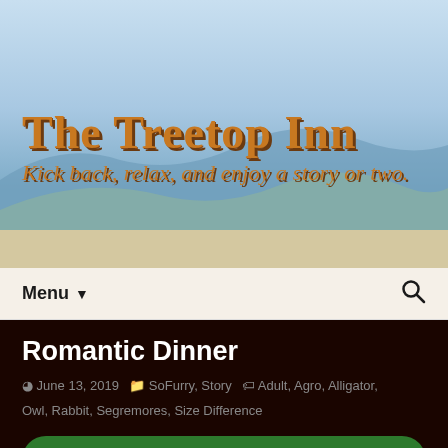[Figure (illustration): Website header banner with sky blue and rolling hills landscape background]
The Treetop Inn
Kick back, relax, and enjoy a story or two.
Menu ▼
Romantic Dinner
June 13, 2019  SoFurry, Story  Adult, Agro, Alligator, Owl, Rabbit, Segremores, Size Difference
Read it on SoFurry
You'll need to be logged in at SoFurry with your content filter set to allow 'extreme' content.